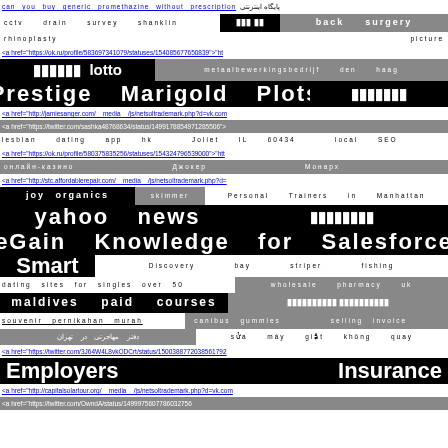can you buy generic promethazine without prescription  پایگاه اینترنتی
cctv drain survey shanklin  [black box text]  back surgery
rhinoplasty  picture
<a href="https://ok.ru/profile/583697341079/statuses/154085677650839">"ht
idddddd lotto  metaalbewerkingsbedrijf den haag
Prestige Marigold Plots  idddddd
<a href="http://jamiesanger.com/__media__/js/netsoltrademark.php?d=vk.com
<a href="https://twitter.com/sashka48768634/status/1499178854971285506">
lesbian dating app hk  Joliet IL 60434  local SEO
<a href="https://ok.ru/profile/580375835256/statuses/154324796539000">"htt
онлайн-казино  Джокер  Монарх
<a href="http://stc.affordablerepair.com/__media__/js/netsoltrademark.php?d=
joy organics  skimmer  Personal Trainers in Manhattan
yahoo news  idddddddd
eGain Knowledge for Salesforce
Smart  Discovery bay striper fishing
dating sites for singles over 50  wholesale pharmacy uk
maldives paid courses  idddddddddd idddddddddd
souvenir pernikahan murah  canibus gummies  selling invoice
دفتر مهاجرتی در تهران  sửa máy giặt không quay
<a href="https://twitter.com/3J64W4L8vkODCrt/status/1500388772038561792
Employers Insurance
<a href="http://capitalsolartour.org/__media__/js/netsoltrademark.php?d=vk.com
<a href="https://twitter.com/OwndA/status/1499975607786032756